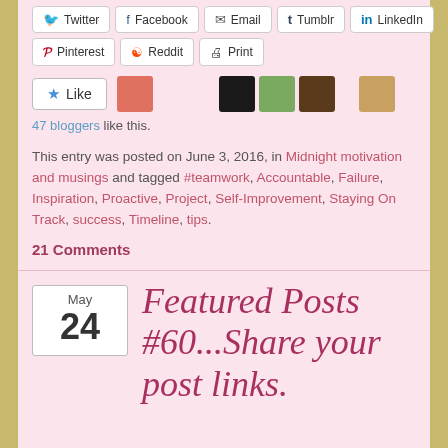Twitter, Facebook, Email, Tumblr, LinkedIn, Pinterest, Reddit, Print (share buttons)
[Figure (other): Like button with star icon and row of user avatar photos]
47 bloggers like this.
This entry was posted on June 3, 2016, in Midnight motivation and musings and tagged #teamwork, Accountable, Failure, Inspiration, Proactive, Project, Self-Improvement, Staying On Track, success, Timeline, tips.
21 Comments
[Figure (illustration): Decorative wavy tilde divider]
May 24
Featured Posts #60...Share your post links.